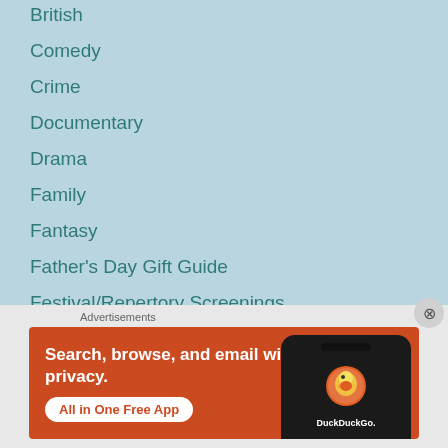British
Comedy
Crime
Documentary
Drama
Family
Fantasy
Father's Day Gift Guide
Festival/Repertory Screenings
Film Noir
Films of Jean Harlow
Advertisements
[Figure (photo): DuckDuckGo advertisement banner showing a smartphone with DuckDuckGo logo and text 'Search, browse, and email with more privacy. All in One Free App']